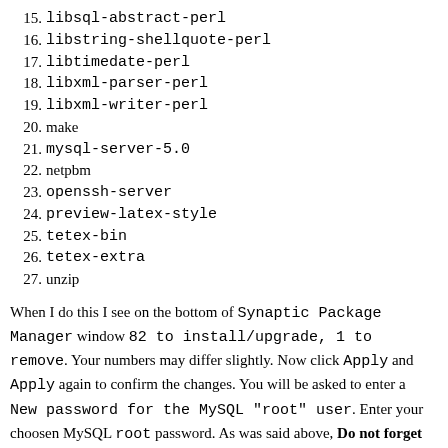15. libsql-abstract-perl
16. libstring-shellquote-perl
17. libtimedate-perl
18. libxml-parser-perl
19. libxml-writer-perl
20. make
21. mysql-server-5.0
22. netpbm
23. openssh-server
24. preview-latex-style
25. tetex-bin
26. tetex-extra
27. unzip
When I do this I see on the bottom of Synaptic Package Manager window 82 to install/upgrade, 1 to remove. Your numbers may differ slightly. Now click Apply and Apply again to confirm the changes. You will be asked to enter a New password for the MySQL "root" user. Enter your choosen MySQL root password. As was said above, Do not forget what you enter here. Also remember that this is the password for the MySQL root user, not the Ubuntu linux system root user. Below we refer to this as <mysql root password>